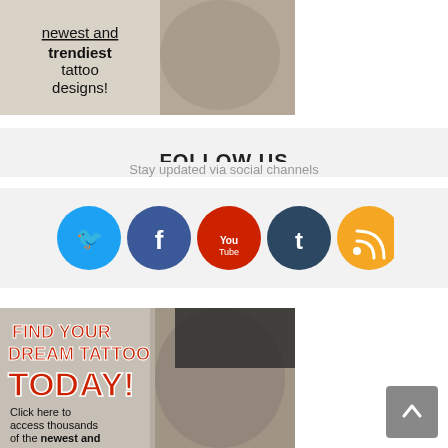[Figure (illustration): Top banner with tattoo image on right showing a person with sleeve tattoos, and text overlay on left reading the newest and trendiest tattoo designs!]
FOLLOW US
Stay updated via social channels
[Figure (infographic): Row of five social media icon circles: Twitter (blue bird), Facebook (blue f), YouTube (red play button), Tumblr (dark blue t), RSS (orange wifi/rss)]
[Figure (illustration): Bottom banner with tattoo sleeve photo on right, bold red text FIND YOUR DREAM TATTOO TODAY! on left, and smaller text Click here to access thousands of the newest and]